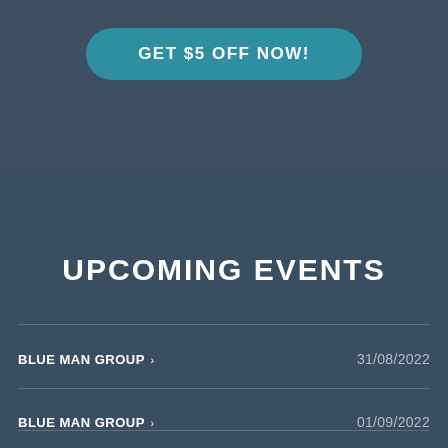GET $5 OFF NOW!
UPCOMING EVENTS
BLUE MAN GROUP > 31/08/2022
BLUE MAN GROUP > 01/09/2022